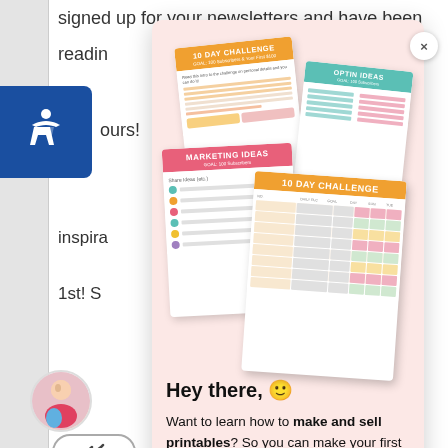signed up for your newsletters and have been
readin
ours!
inspira
1st! S
[Figure (illustration): Stack of four colorful printable worksheets/checklists: two labeled '10 DAY CHALLENGE', one labeled 'OPTIN IDEAS', one labeled 'MARKETING IDEAS', displayed fanned out in overlapping arrangement]
Hey there, 🙂
Want to learn how to make and sell printables? So you can make your first $100 online and build your email list to 100 subscribers – in 10 days!